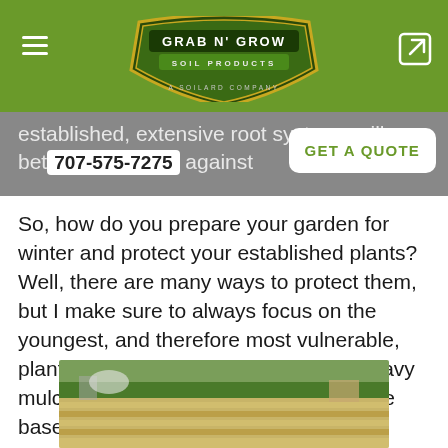Grab N' Grow Soil Products — A SOILARD COMPANY
established, extensive root systems will better hold up against
707-575-7275
GET A QUOTE
So, how do you prepare your garden for winter and protect your established plants? Well, there are many ways to protect them, but I make sure to always focus on the youngest, and therefore most vulnerable, plants first. A first layer of dense is a heavy mulch of wood chips or straw around the base.
[Figure (photo): Outdoor farm field with rows of straw/mulch laid between crop rows, trees and structures visible in background.]